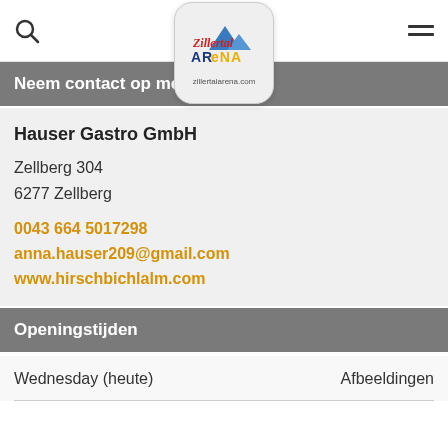Zillertalarena.com navigation bar with search icon and hamburger menu
[Figure (logo): Zillertal Arena logo badge with mountain graphic and text 'zillertalarena.com']
Neem contact op met
Hauser Gastro GmbH
Zellberg 304
6277 Zellberg
0043 664 5017298
anna.hauser209@gmail.com
www.hirschbichlalm.com
Openingstijden
Wednesday (heute)	Afbeeldingen